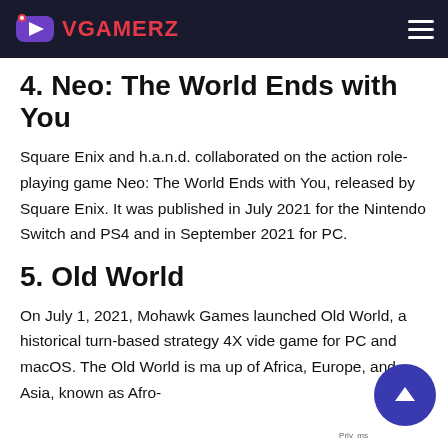VGAMERZ
4. Neo: The World Ends with You
Square Enix and h.a.n.d. collaborated on the action role-playing game Neo: The World Ends with You, released by Square Enix. It was published in July 2021 for the Nintendo Switch and PS4 and in September 2021 for PC.
5. Old World
On July 1, 2021, Mohawk Games launched Old World, a historical turn-based strategy 4X vide game for PC and macOS. The Old World is ma up of Africa, Europe, and Asia, known as Afro-